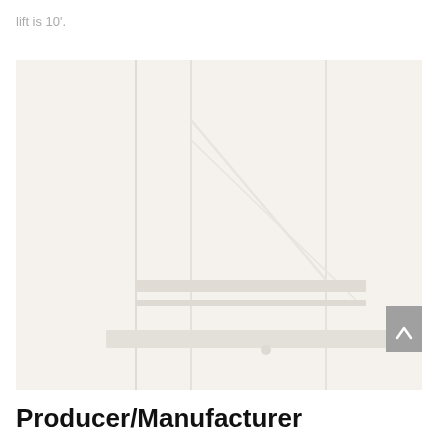lift is 10'.
[Figure (photo): Faded/washed-out photograph of what appears to be an industrial or mechanical structure with vertical columns and diagonal support lines, very low contrast against a light background. A scroll-to-top button (chevron up) is visible on the right edge.]
Producer/Manufacturer